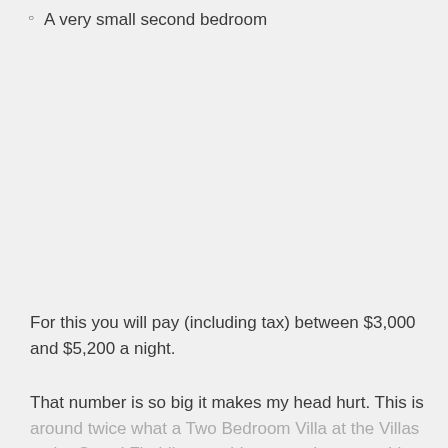A very small second bedroom
For this you will pay (including tax) between $3,000 and $5,200 a night.
That number is so big it makes my head hurt. This is around twice what a Two Bedroom Villa at the Villas at the Grand Floridian would cost, and comparable to what a